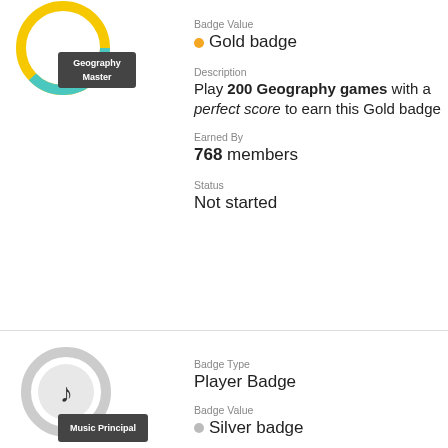[Figure (illustration): Geography Master badge: teal and yellow ring icon with dark label 'Geography Master']
Badge Value
Gold badge
Description
Play 200 Geography games with a perfect score to earn this Gold badge
Earned By
768 members
Status
Not started
[Figure (illustration): Music Principal badge: gray ring with music note icon and dark label 'Music Principal']
Badge Type
Player Badge
Badge Value
Silver badge